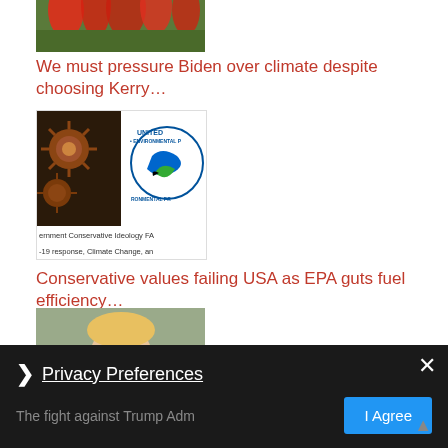[Figure (photo): Partial view of a floral/plant image at the top]
We must pressure Biden over climate despite choosing Kerry…
[Figure (photo): Composite image showing virus particles (COVID-19) on left and United States Environmental Protection Agency (EPA) logo on right, with text overlay: 'ernment Conservative Ideology FA' and '-19 response, Climate Change, an']
Conservative values failing USA as EPA guts fuel efficiency…
[Figure (photo): Photo of Donald Trump speaking outdoors, wearing a dark suit with red tie]
The fight against Trump Adm… plan to revoke…
Privacy Preferences
I Agree